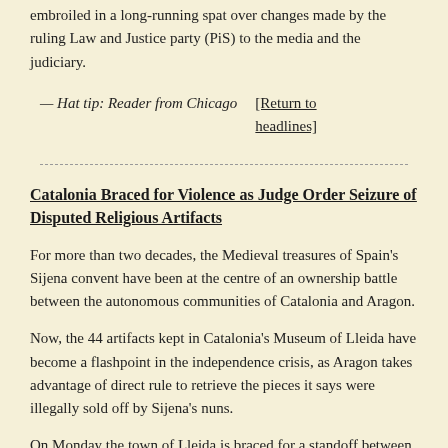embroiled in a long-running spat over changes made by the ruling Law and Justice party (PiS) to the media and the judiciary.
— Hat tip: Reader from Chicago
[Return to headlines]
Catalonia Braced for Violence as Judge Order Seizure of Disputed Religious Artifacts
For more than two decades, the Medieval treasures of Spain's Sijena convent have been at the centre of an ownership battle between the autonomous communities of Catalonia and Aragon.
Now, the 44 artifacts kept in Catalonia's Museum of Lleida have become a flashpoint in the independence crisis, as Aragon takes advantage of direct rule to retrieve the pieces it says were illegally sold off by Sijena's nuns.
On Monday the town of Lleida is braced for a standoff between police ordered in to remove the artifacts and pro-independence Catalans who have vowed to come to their